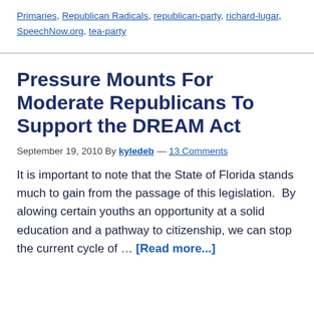Primaries, Republican Radicals, republican-party, richard-lugar, SpeechNow.org, tea-party
Pressure Mounts For Moderate Republicans To Support the DREAM Act
September 19, 2010 By kyledeb — 13 Comments
It is important to note that the State of Florida stands much to gain from the passage of this legislation.  By alowing certain youths an opportunity at a solid education and a pathway to citizenship, we can stop the current cycle of … [Read more...]